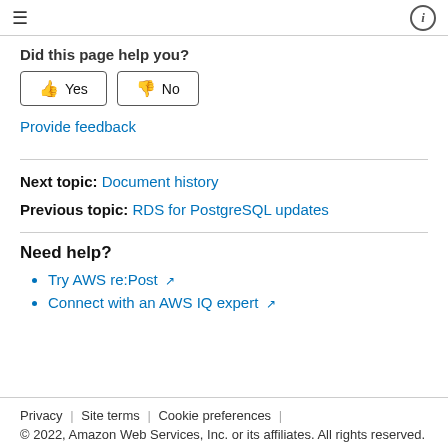≡  ⓘ
Did this page help you?
👍 Yes   👎 No
Provide feedback
Next topic: Document history
Previous topic: RDS for PostgreSQL updates
Need help?
Try AWS re:Post ↗
Connect with an AWS IQ expert ↗
Privacy | Site terms | Cookie preferences | © 2022, Amazon Web Services, Inc. or its affiliates. All rights reserved.